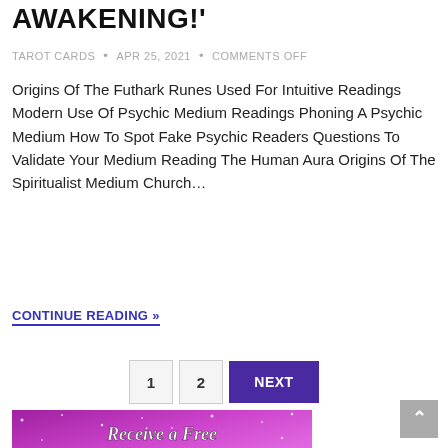AWAKENING!'
TAROT CARDS • APR 25, 2021 • COMMENTS OFF
Origins Of The Futhark Runes Used For Intuitive Readings Modern Use Of Psychic Medium Readings Phoning A Psychic Medium How To Spot Fake Psychic Readers Questions To Validate Your Medium Reading The Human Aura Origins Of The Spiritualist Medium Church…
CONTINUE READING »
1  2  NEXT
[Figure (illustration): Banner image with purple/pink galaxy background showing text 'Receive a Free ASTRO-TAROT']